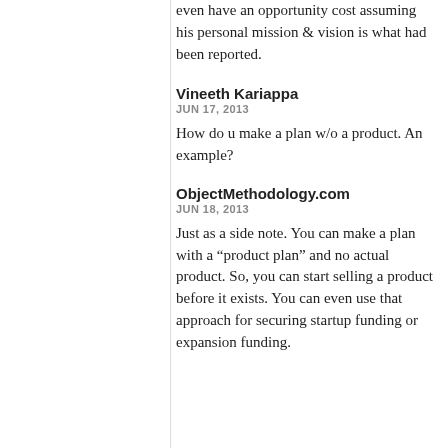even have an opportunity cost assuming his personal mission & vision is what had been reported.
Vineeth Kariappa
JUN 17, 2013

How do u make a plan w/o a product. An example?
ObjectMethodology.com
JUN 18, 2013

Just as a side note. You can make a plan with a “product plan” and no actual product. So, you can start selling a product before it exists. You can even use that approach for securing startup funding or expansion funding.